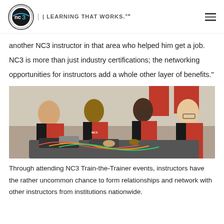nc3 | LEARNING THAT WORKS.
another NC3 instructor in that area who helped him get a job. NC3 is more than just industry certifications; the networking opportunities for instructors add a whole other layer of benefits."
[Figure (photo): Four people in red and black uniforms working together over an engine or mechanical equipment in a classroom or lab setting.]
Through attending NC3 Train-the-Trainer events, instructors have the rather uncommon chance to form relationships and network with other instructors from institutions nationwide.